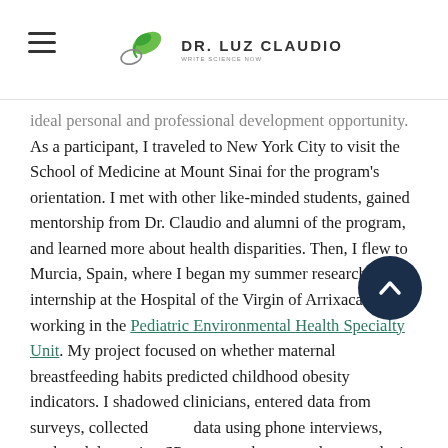Dr. Luz Claudio — Write Science Now
ideal personal and professional development opportunity. As a participant, I traveled to New York City to visit the School of Medicine at Mount Sinai for the program's orientation. I met with other like-minded students, gained mentorship from Dr. Claudio and alumni of the program, and learned more about health disparities. Then, I flew to Murcia, Spain, where I began my summer research internship at the Hospital of the Virgin of Arrixaca working in the Pediatric Environmental Health Specialty Unit. My project focused on whether maternal breastfeeding habits predicted childhood obesity indicators. I shadowed clinicians, entered data from surveys, collected data using phone interviews, analyzed data using SP[SS], and presented my results in a manuscript and presentation to my mentor. My experiences in Spain and the opportunity provided by the program shaped my career immediately followed...